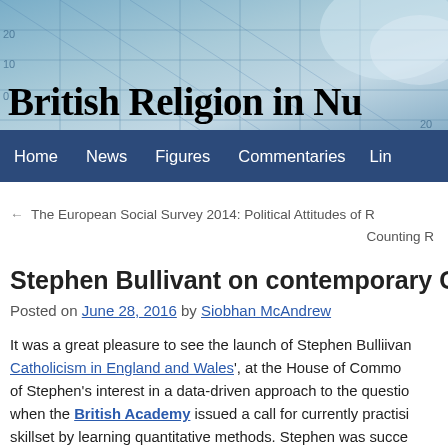[Figure (illustration): Website header banner with blue world map/grid background and site title 'British Religion in Numbers']
Home   News   Figures   Commentaries   Lin…
← The European Social Survey 2014: Political Attitudes of R…
Counting R…
Stephen Bullivant on contemporary Ca…
Posted on June 28, 2016 by Siobhan McAndrew
It was a great pleasure to see the launch of Stephen Bullivant's… Catholicism in England and Wales', at the House of Commons… of Stephen's interest in a data-driven approach to the question… when the British Academy issued a call for currently practisi… skillset by learning quantitative methods. Stephen was succe… British Academy Quantitative Skills Acquisition Award…